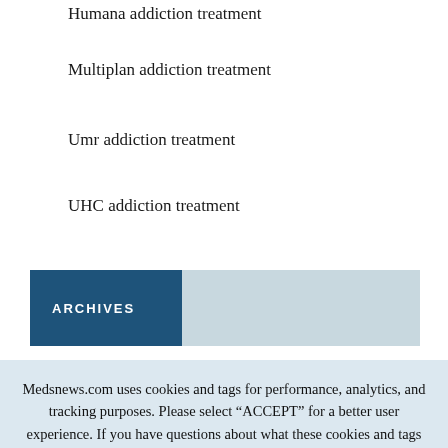Humana addiction treatment
Multiplan addiction treatment
Umr addiction treatment
UHC addiction treatment
ARCHIVES
Medsnews.com uses cookies and tags for performance, analytics, and tracking purposes. Please select “ACCEPT” for a better user experience. If you have questions about what these cookies and tags are tracking, please take a moment to review our privacy policy
Accept
Read More